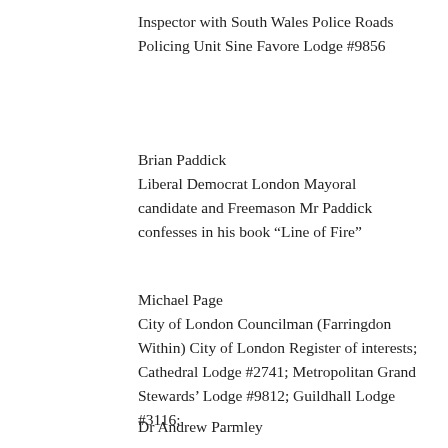Inspector with South Wales Police Roads Policing Unit Sine Favore Lodge #9856
Brian Paddick Liberal Democrat London Mayoral candidate and Freemason Mr Paddick confesses in his book “Line of Fire”
Michael Page City of London Councilman (Farringdon Within) City of London Register of interests; Cathedral Lodge #2741; Metropolitan Grand Stewards’ Lodge #9812; Guildhall Lodge #3116;
Dr Andrew Parmley